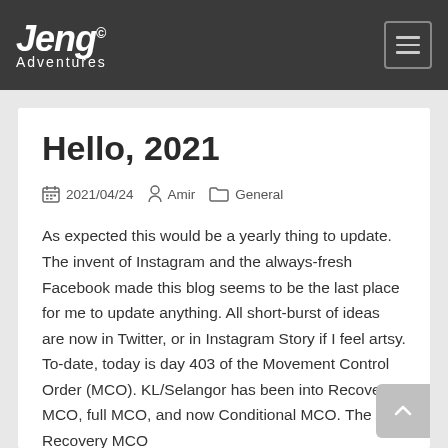Jeng Adventures
Hello, 2021
2021/04/24   Amir   General
As expected this would be a yearly thing to update. The invent of Instagram and the always-fresh Facebook made this blog seems to be the last place for me to update anything. All short-burst of ideas are now in Twitter, or in Instagram Story if I feel artsy.
To-date, today is day 403 of the Movement Control Order (MCO). KL/Selangor has been into Recovery MCO, full MCO, and now Conditional MCO. The Recovery MCO